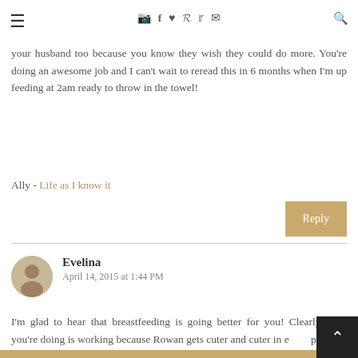≡ [icons: camera, facebook, heart, pinterest, twitter, mail] [search]
just fine. It seems like the first 6 weeks is the hardest part with a newborn. It also got to be harder because you're having to do it all alone. Which is sad for your husband too because you know they wish they could do more. You're doing an awesome job and I can't wait to reread this in 6 months when I'm up feeding at 2am ready to throw in the towel!
Ally - Life as I know it
Reply
Evelina
April 14, 2015 at 1:44 PM
I'm glad to hear that breastfeeding is going better for you! Clearly what you're doing is working because Rowan gets cuter and cuter in every picture!